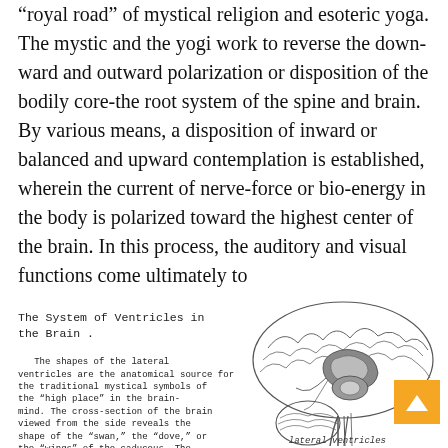“royal road” of mystical religion and esoteric yoga. The mystic and the yogi work to reverse the down-ward and outward polarization or disposition of the bodily core-the root system of the spine and brain. By various means, a disposition of inward or balanced and upward contemplation is established, wherein the current of nerve-force or bio-energy in the body is polarized toward the highest center of the brain. In this process, the auditory and visual functions come ultimately to
The System of Ventricles in the Brain .
The shapes of the lateral ventricles are the anatomical source for the traditional mystical symbols of the "high place" in the brain-mind. The cross-section of the brain viewed from the side reveals the shape of the "swan," the "dove," or the "wings" of the caduceus. The cross-section of the brain viewed from the rear or from the front reveals the crescent shape of the lateral ventricles. The crescent or quarter moon is also a primary traditional symbol for the
[Figure (illustration): Anatomical illustration of a cross-section of the human brain viewed from the side, showing the ventricle system with shaded regions indicating the lateral ventricles and other brain structures. Line drawing style.]
lateral ventricles